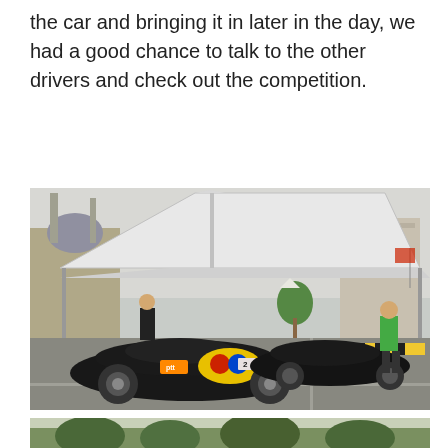the car and bringing it in later in the day, we had a good chance to talk to the other drivers and check out the competition.
[Figure (photo): Red Bull branded racing cars (sports cars) parked under a large white canopy tent on a street course, with crew members standing around. Classic Moorish-style building visible on the left background, city buildings on the right. Yellow and black barriers line the road.]
[Figure (photo): Partial view of another outdoor scene with trees, appears to be a second photo cropped at the bottom of the page.]